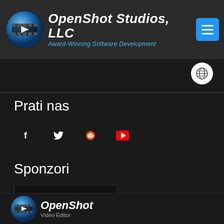OpenShot Studios, LLC — Award-Winning Software Development
Prati nas
[Figure (illustration): Social media icon buttons: Facebook, Twitter, Reddit, YouTube — white icons on dark circular backgrounds]
Sponzori
[Figure (logo): Amazon Web Services logo badge — powered by amazon web services, orange cube icons on dark background]
[Figure (logo): OpenShot Video Editor logo — blue globe with film strip icon and italic white text]